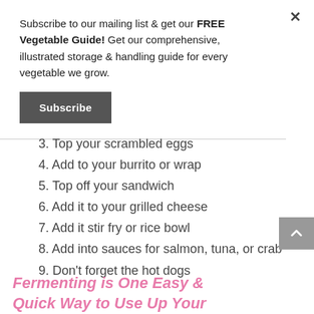Subscribe to our mailing list & get our FREE Vegetable Guide! Get our comprehensive, illustrated storage & handling guide for every vegetable we grow.
Subscribe
3. Top your scrambled eggs
4. Add to your burrito or wrap
5. Top off your sandwich
6. Add it to your grilled cheese
7. Add it stir fry or rice bowl
8. Add into sauces for salmon, tuna, or crab
9. Don't forget the hot dogs
Fermenting is One Easy & Quick Way to Use Up Your